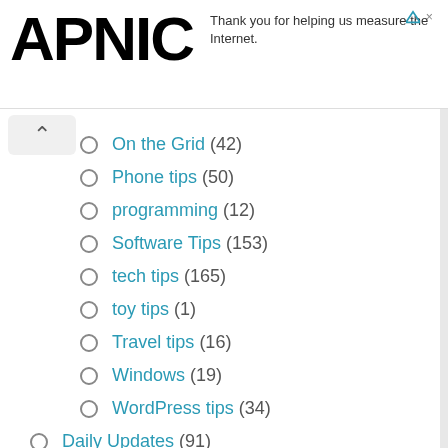APNIC — Thank you for helping us measure the Internet.
On the Grid (42)
Phone tips (50)
programming (12)
Software Tips (153)
tech tips (165)
toy tips (1)
Travel tips (16)
Windows (19)
WordPress tips (34)
Daily Updates (91)
Entertainment (43)
Disc Golf (4)
Games (18)
Kayaking (1)
Gadgets and Tech (239)